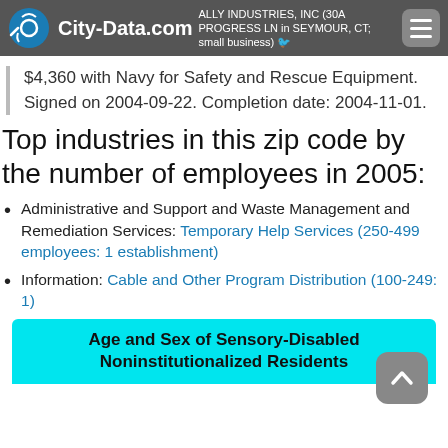City-Data.com — ALLY INDUSTRIES, INC (30A PROGRESS LN in SEYMOUR, CT; small business)
$4,360 with Navy for Safety and Rescue Equipment. Signed on 2004-09-22. Completion date: 2004-11-01.
Top industries in this zip code by the number of employees in 2005:
Administrative and Support and Waste Management and Remediation Services: Temporary Help Services (250-499 employees: 1 establishment)
Information: Cable and Other Program Distribution (100-249: 1)
Age and Sex of Sensory-Disabled Noninstitutionalized Residents